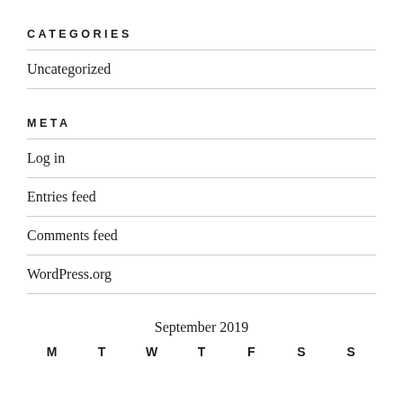CATEGORIES
Uncategorized
META
Log in
Entries feed
Comments feed
WordPress.org
September 2019
| M | T | W | T | F | S | S |
| --- | --- | --- | --- | --- | --- | --- |